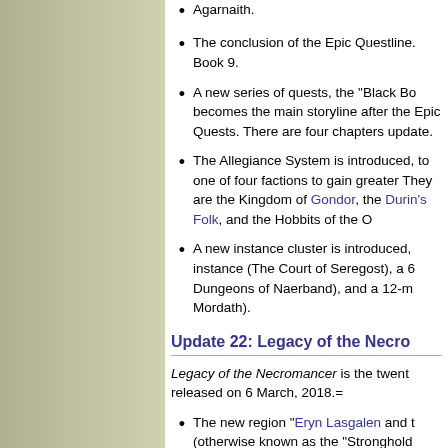Agarnaith.
The conclusion of the Epic Questline. Book 9.
A new series of quests, the "Black Bo... becomes the main storyline after the Epic Quests. There are four chapters... update.
The Allegiance System is introduced, to one of four factions to gain greater... They are the Kingdom of Gondor, the Durin’s Folk, and the Hobbits of the O...
A new instance cluster is introduced, instance (The Court of Seregost), a 6... Dungeons of Naerband), and a 12-m... Mordath).
Update 22: Legacy of the Necro...
Legacy of the Necromancer is the twent... released on 6 March, 2018.=
The new region "Eryn Lasgalen and t... (otherwise known as the "Stronghold...